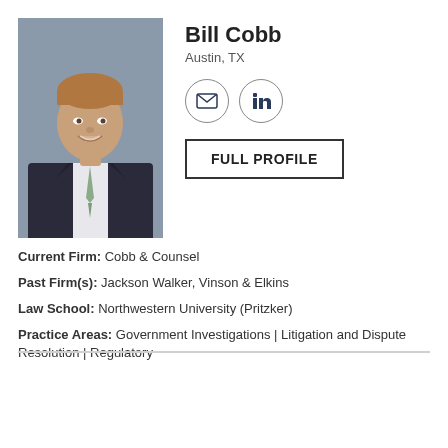[Figure (photo): Professional headshot of Bill Cobb, a man in a dark pinstripe suit with a light green striped tie, smiling, against a gray background]
Bill Cobb
Austin, TX
[Figure (infographic): Email icon (envelope) in a circle and LinkedIn 'in' logo in a circle]
FULL PROFILE
Current Firm: Cobb & Counsel
Past Firm(s): Jackson Walker, Vinson & Elkins
Law School: Northwestern University (Pritzker)
Practice Areas: Government Investigations | Litigation and Dispute Resolution | Regulatory